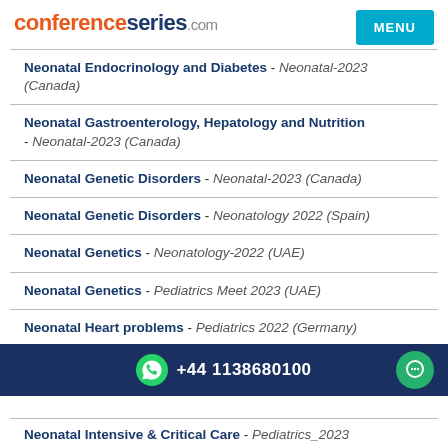conferenceseries.com
Neonatal Endocrinology and Diabetes - Neonatal-2023 (Canada)
Neonatal Gastroenterology, Hepatology and Nutrition - Neonatal-2023 (Canada)
Neonatal Genetic Disorders - Neonatal-2023 (Canada)
Neonatal Genetic Disorders - Neonatology 2022 (Spain)
Neonatal Genetics - Neonatology-2022 (UAE)
Neonatal Genetics - Pediatrics Meet 2023 (UAE)
Neonatal Heart problems - Pediatrics 2022 (Germany)
Neonatal Infectious Diseases - Neonatal-2023 (Canada)
+44 1138680100
Neonatal Intensive & Critical Care - Pediatrics_2023